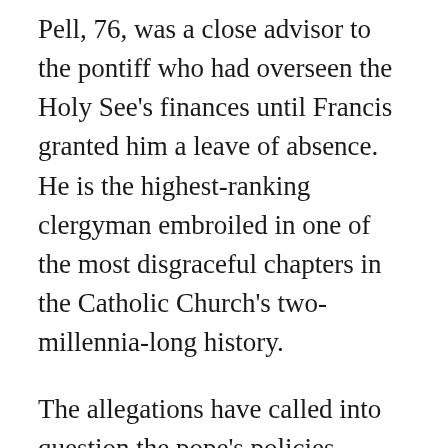Pell, 76, was a close advisor to the pontiff who had overseen the Holy See's finances until Francis granted him a leave of absence. He is the highest-ranking clergyman embroiled in one of the most disgraceful chapters in the Catholic Church's two-millennia-long history.
The allegations have called into question the pope's policies toward the sex abuse scandal, revealing a “blind spot” in an Argentine pontiff